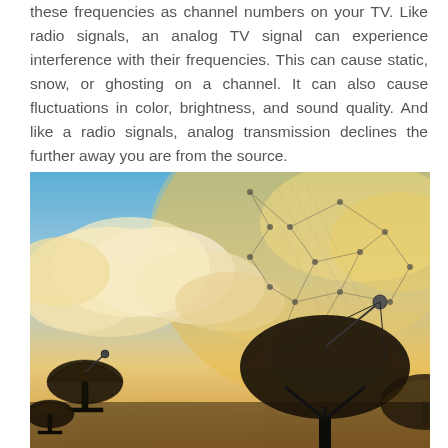these frequencies as channel numbers on your TV. Like radio signals, an analog TV signal can experience interference with their frequencies. This can cause static, snow, or ghosting on a channel. It can also cause fluctuations in color, brightness, and sound quality. And like a radio signals, analog transmission declines the further away you are from the source.
[Figure (photo): Satellite dishes silhouetted against a sky with warm golden clouds and blue sky, overlaid with a network/data visualization showing connected dots and lines, suggesting digital transmission or connectivity.]